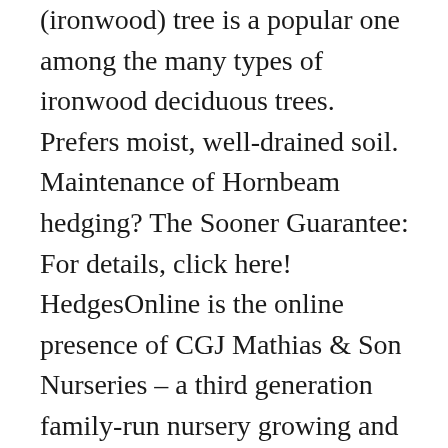(ironwood) tree is a popular one among the many types of ironwood deciduous trees. Prefers moist, well-drained soil. Maintenance of Hornbeam hedging? The Sooner Guarantee: For details, click here! HedgesOnline is the online presence of CGJ Mathias & Son Nurseries – a third generation family-run nursery growing and supplying quality hedging plants since 1963. The first green leaves of the year are synonymous with the arrival of spring and the leaves will remain green until the autumn when they will turn a golden-copper brown colour. Frans Fontaine Hornbeam is recommended for the following landscape applications; Accent; Shade; Vertical Accent; Mass Planting; Hedges/Screening; Planting &